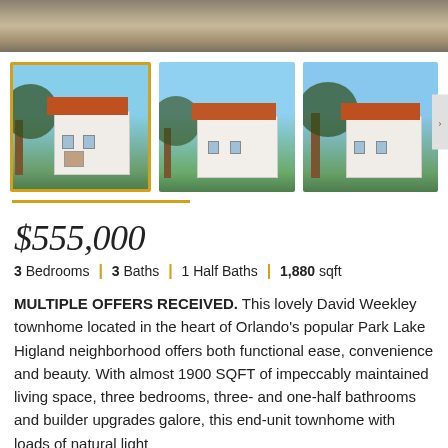[Figure (photo): Top banner photo of street/road scene, partially cropped]
[Figure (photo): Three thumbnail photos of a David Weekley townhome in Orlando's Park Lake Highland neighborhood. First thumbnail is selected with a yellow/gold border.]
$555,000
3 Bedrooms | 3 Baths | 1 Half Baths | 1,880 sqft
MULTIPLE OFFERS RECEIVED. This lovely David Weekley townhome located in the heart of Orlando's popular Park Lake Higland neighborhood offers both functional ease, convenience and beauty. With almost 1900 SQFT of impeccably maintained living space, three bedrooms, three- and one-half bathrooms and builder upgrades galore, this end-unit townhome with loads of natural light
READ MORE ▼